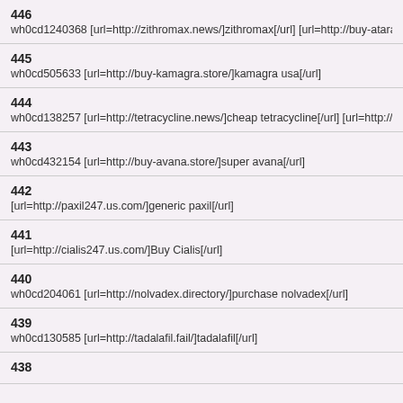446
wh0cd1240368 [url=http://zithromax.news/]zithromax[/url] [url=http://buy-atarax.shop/]buy a
445
wh0cd505633 [url=http://buy-kamagra.store/]kamagra usa[/url]
444
wh0cd138257 [url=http://tetracycline.news/]cheap tetracycline[/url] [url=http://costofcialis.pr
443
wh0cd432154 [url=http://buy-avana.store/]super avana[/url]
442
[url=http://paxil247.us.com/]generic paxil[/url]
441
[url=http://cialis247.us.com/]Buy Cialis[/url]
440
wh0cd204061 [url=http://nolvadex.directory/]purchase nolvadex[/url]
439
wh0cd130585 [url=http://tadalafil.fail/]tadalafil[/url]
438